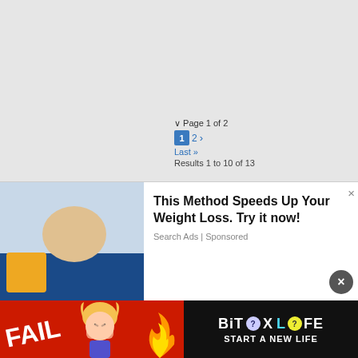Page 1 of 2
1  2  ›  Last »  Results 1 to 10 of 13
Thread: Has embedding YouTube clips on NSC stopped working?
Thread Tools ∨  Display ∨
05-09-2010, 09:42  #1
Advertising  −
[Figure (screenshot): Pop-up advertisement: 'This Method Speeds Up Your Weight Loss. Try it now!' with Search Ads | Sponsored label and an image of hands squeezing a lemon]
[Figure (screenshot): Bottom banner advertisement for BitLife game: FAIL text, cartoon character, BitLife logo, START A NEW LIFE text on red background]